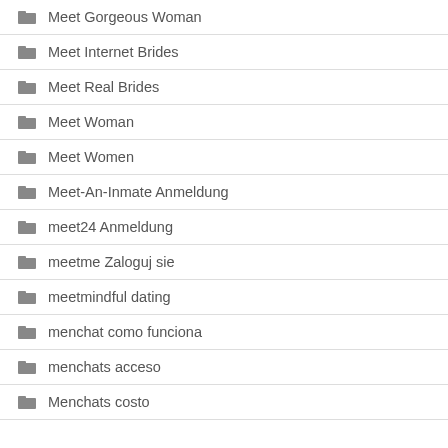Meet Gorgeous Woman
Meet Internet Brides
Meet Real Brides
Meet Woman
Meet Women
Meet-An-Inmate Anmeldung
meet24 Anmeldung
meetme Zaloguj sie
meetmindful dating
menchat como funciona
menchats acceso
Menchats costo